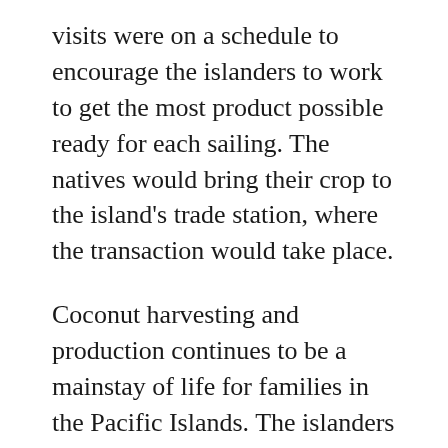visits were on a schedule to encourage the islanders to work to get the most product possible ready for each sailing. The natives would bring their crop to the island's trade station, where the transaction would take place.
Coconut harvesting and production continues to be a mainstay of life for families in the Pacific Islands. The islanders still use traditional methods to split and dry out coconut halves. They also continue to manually extract the dried flesh.
Copra harvesting is not without its drawbacks. For example, copra itch is a complaint